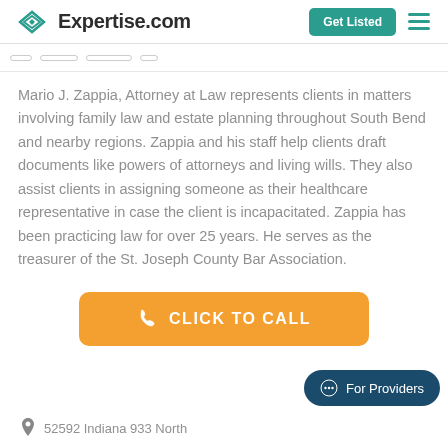Expertise.com | Get Listed
Mario J. Zappia, Attorney at Law represents clients in matters involving family law and estate planning throughout South Bend and nearby regions. Zappia and his staff help clients draft documents like powers of attorneys and living wills. They also assist clients in assigning someone as their healthcare representative in case the client is incapacitated. Zappia has been practicing law for over 25 years. He serves as the treasurer of the St. Joseph County Bar Association.
[Figure (other): Orange CLICK TO CALL button with phone icon]
[Figure (other): Dark teal For Providers chat bubble button]
52592 Indiana 933 North